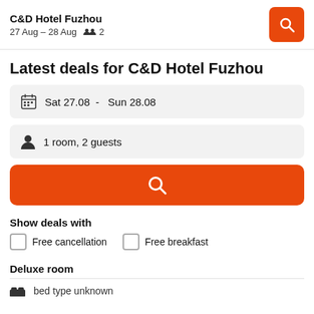C&D Hotel Fuzhou
27 Aug – 28 Aug  2
Latest deals for C&D Hotel Fuzhou
Sat 27.08  -  Sun 28.08
1 room, 2 guests
Show deals with
Free cancellation
Free breakfast
Deluxe room
bed type unknown